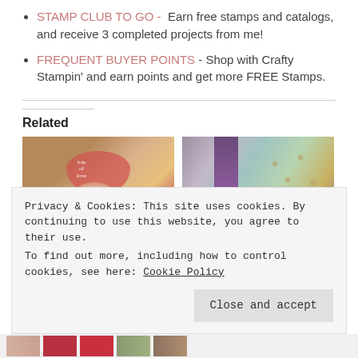STAMP CLUB TO GO - Earn free stamps and catalogs, and receive 3 completed projects from me!
FREQUENT BUYER POINTS - Shop with Crafty Stampin' and earn points and get more FREE Stamps.
Related
[Figure (photo): Crafting card with red love heart shape and gold glitter embellishment on wood-textured background]
[Figure (photo): Purple and teal patterned crafting card with gold accents and floral design on wood background]
Privacy & Cookies: This site uses cookies. By continuing to use this website, you agree to their use.
To find out more, including how to control cookies, see here: Cookie Policy
Close and accept